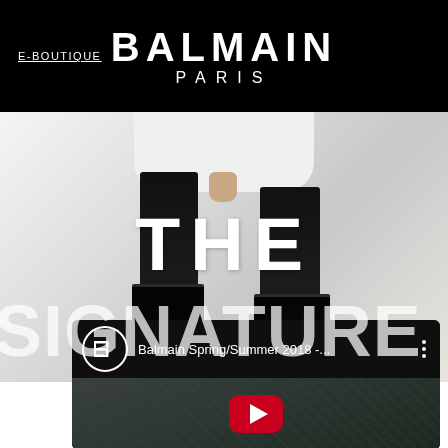E-BOUTIQUE    BALMAIN    PARIS
[Figure (photo): Fashion editorial photo showing a model's lower body wearing black patent leather boots and black leather pants against a white background, with large overlaid text THE SIGNATURE]
[Figure (screenshot): YouTube video thumbnail showing Balmain Spring/Summer 2018 with a red play button, displaying channel icon (B monogram in circle), video title 'Balmain Spring/Summer 2018 -...' and three-dot menu icon. Thumbnail shows dark textured fashion imagery.]